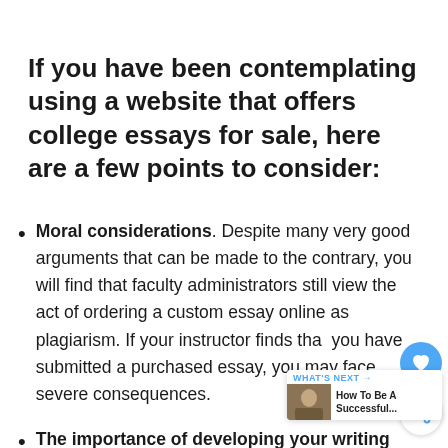If you have been contemplating using a website that offers college essays for sale, here are a few points to consider:
Moral considerations. Despite many very good arguments that can be made to the contrary, you will find that faculty administrators still view the act of ordering a custom essay online as plagiarism. If your instructor finds that you have submitted a purchased essay, you may face severe consequences.
The importance of developing your writing skills. By not doing the work yourself, you may miss out to freshen up the academic skills you are more likely to apply in the real world.